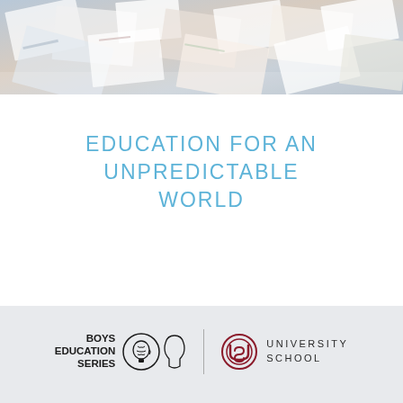[Figure (photo): Overhead view of scattered papers, books, and magazines in a pile]
EDUCATION FOR AN UNPREDICTABLE WORLD
[Figure (logo): Boys Education Series logo with brain/head icon and University School logo with US monogram]
BOYS EDUCATION SERIES | UNIVERSITY SCHOOL